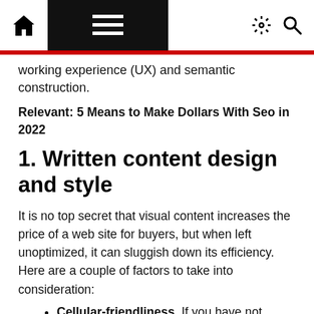Navigation bar with home icon, menu, dark mode and search icons
working experience (UX) and semantic construction.
Relevant: 5 Means to Make Dollars With Seo in 2022
1. Written content design and style
It is no top secret that visual content increases the price of a web site for buyers, but when left unoptimized, it can sluggish down its efficiency. Here are a couple of factors to take into consideration:
Cellular-friendliness. If you have not carried out it still, be sure to examine if your website can be viewed and utilised effortlessly on smartphones and tablets, as more than fifty percent of queries